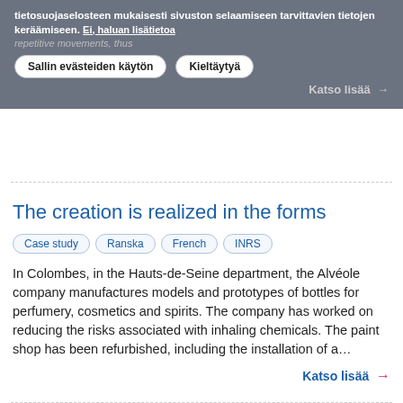tietosuojaselosteen mukaisesti sivuston selaamiseen tarvittavien tietojen keräämiseen. Ei, haluan lisätietoa
repetitive movements, thus
Sallin evästeiden käytön
Kieltäytyä
Katso lisää →
The creation is realized in the forms
Case study
Ranska
French
INRS
In Colombes, in the Hauts-de-Seine department, the Alvéole company manufactures models and prototypes of bottles for perfumery, cosmetics and spirits. The company has worked on reducing the risks associated with inhaling chemicals. The paint shop has been refurbished, including the installation of a…
Katso lisää →